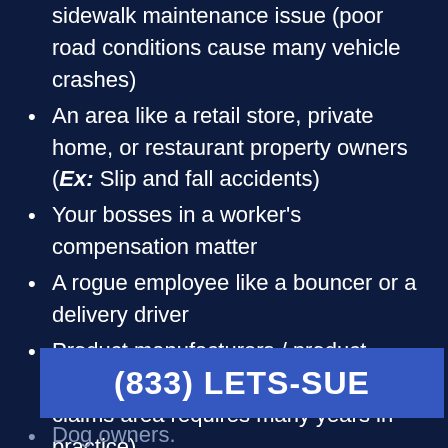sidewalk maintenance issue (poor road conditions cause many vehicle crashes)
An area like a retail store, private home, or restaurant property owners (Ex: Slip and fall accidents)
Your bosses in a worker’s compensation matter
A rogue employee like a bouncer or a delivery driver
Product manufacturers / product liability. (The dangerous products claims area requires many years in practice)
(833) LETS-SUE
Dog owners.
The...